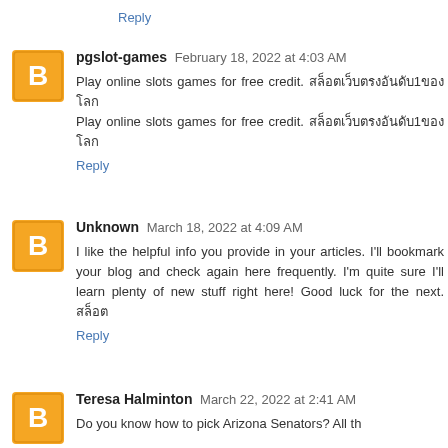Reply
pgslot-games February 18, 2022 at 4:03 AM
Play online slots games for free credit. สล็อตเว็บตรง
Play online slots games for free credit. สล็อตเว็บตรง
Reply
Unknown March 18, 2022 at 4:09 AM
I like the helpful info you provide in your articles. I'll bookmark your blog and check again here frequently. I'm quite sure I'll learn plenty of new stuff right here! Good luck for the next. สล็อต
Reply
Teresa Halminton March 22, 2022 at 2:41 AM